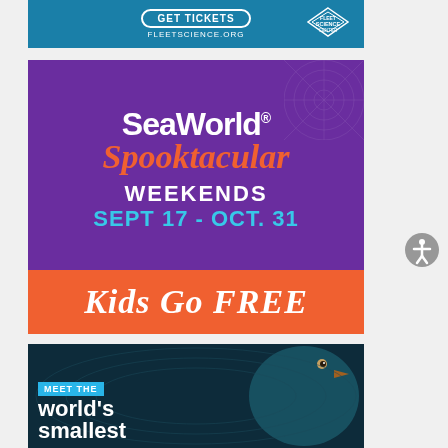[Figure (infographic): Fleet Science Center advertisement with 'GET TICKETS' button and FLEETSCIENCE.ORG URL on a teal/blue background with Fleet Science Center logo]
[Figure (infographic): SeaWorld Spooktacular advertisement on purple background. Text reads: SeaWorld Spooktacular, WEEKENDS, SEPT 17 - OCT. 31, Kids Go FREE (on orange banner)]
[Figure (infographic): Advertisement showing a penguin/bird with text 'MEET THE world's smallest' on dark navy background]